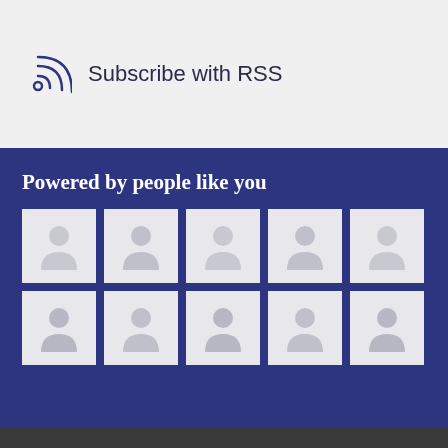[Figure (logo): RSS feed icon — two curved arcs and a dot representing an RSS subscription symbol, drawn in dark navy blue]
Subscribe with RSS
Powered by people like you
[Figure (illustration): A 2-row by 5-column grid of 10 placeholder avatar boxes, each showing a generic grey person silhouette icon on a light grey background, arranged on a dark navy blue background]